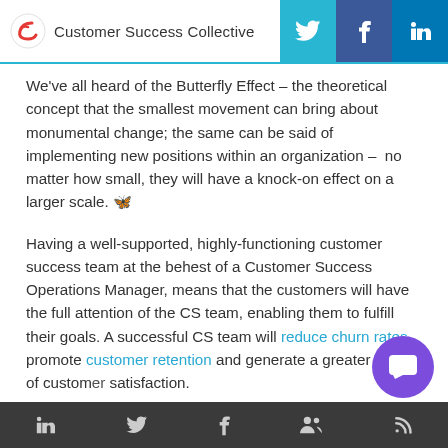Customer Success Collective
We've all heard of the Butterfly Effect – the theoretical concept that the smallest movement can bring about monumental change; the same can be said of implementing new positions within an organization –  no matter how small, they will have a knock-on effect on a larger scale. 🦋
Having a well-supported, highly-functioning customer success team at the behest of a Customer Success Operations Manager, means that the customers will have the full attention of the CS team, enabling them to fulfill their goals. A successful CS team will reduce churn rates, promote customer retention and generate a greater sense of customer satisfaction.
Social icons: LinkedIn, Twitter, Facebook, Community, RSS